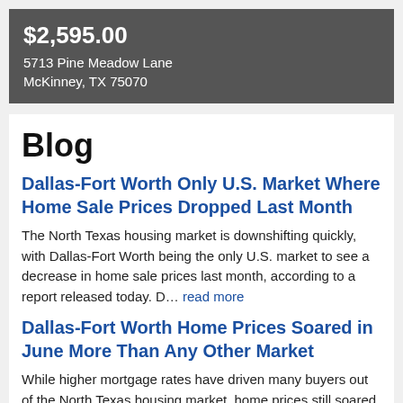$2,595.00
5713 Pine Meadow Lane
McKinney, TX 75070
Blog
Dallas-Fort Worth Only U.S. Market Where Home Sale Prices Dropped Last Month
The North Texas housing market is downshifting quickly, with Dallas-Fort Worth being the only U.S. market to see a decrease in home sale prices last month, according to a report released today. D… read more
Dallas-Fort Worth Home Prices Soared in June More Than Any Other Market
While higher mortgage rates have driven many buyers out of the North Texas housing market, home prices still soared in June more than in other red-hot U.S. metros. The median home